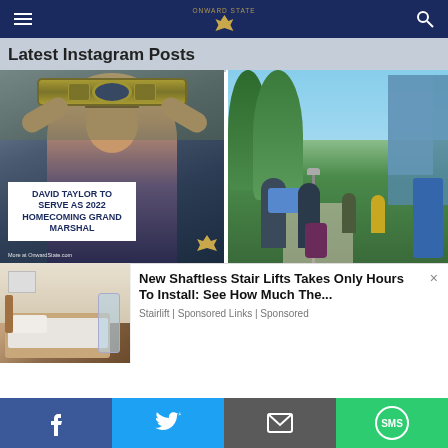Onward State navigation bar
Latest Instagram Posts
[Figure (photo): David Taylor holding a championship wrestling belt, with overlay text: DAVID TAYLOR TO SERVE AS 2022 HOMECOMING GRAND MARSHAL. Credit: OnwardState.com]
[Figure (photo): Students moving in on campus walkway, carrying boxes and luggage]
[Figure (photo): Advertisement thumbnail showing a bedroom with a bed for a Shaftless Stair Lifts ad]
New Shaftless Stair Lifts Takes Only Hours To Install: See How Much The...
Stairlift | Sponsored Links | Sponsored
Social share bar: Facebook, Twitter, Email, SMS